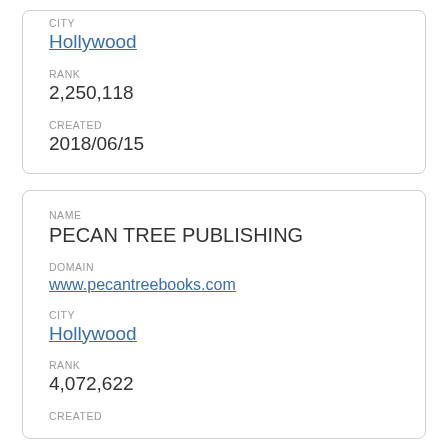CITY
Hollywood
RANK
2,250,118
CREATED
2018/06/15
NAME
PECAN TREE PUBLISHING
DOMAIN
www.pecantreebooks.com
CITY
Hollywood
RANK
4,072,622
CREATED